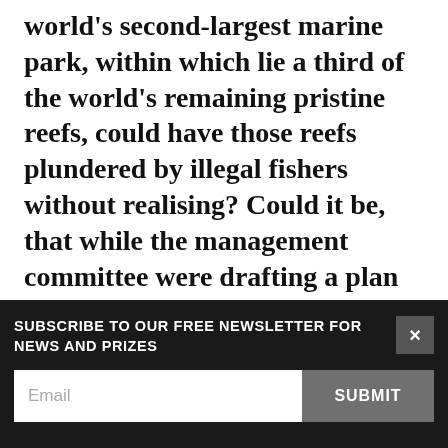world's second-largest marine park, within which lie a third of the world's remaining pristine reefs, could have those reefs plundered by illegal fishers without realising? Could it be, that while the management committee were drafting a plan (that would never get submitted), that the reefs they intended to protect were dying without any of the officials noticing? Could it be that while advocates delighted in new opportunities for legislative change, that the moment to save these precious sites had already passed? How could it be, that with all this official activity and attention from authorities, that a film
SUBSCRIBE TO OUR FREE NEWSLETTER FOR NEWS AND PRIZES
Email
SUBMIT
[Figure (other): Light blue gradient banner with a plus (+) button icon in gray square on the left]